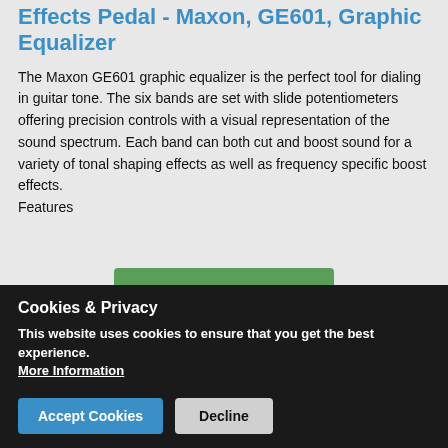Effects Pedal - Maxon, GE601, Graphic Equalizer
The Maxon GE601 graphic equalizer is the perfect tool for dialing in guitar tone. The six bands are set with slide potentiometers offering precision controls with a visual representation of the sound spectrum. Each band can both cut and boost sound for a variety of tonal shaping effects as well as frequency specific boost effects.
Features
Please Log In to view prices
Cookies & Privacy
This website uses cookies to ensure that you get the best experience.
More Information
Accept Cookies   Decline